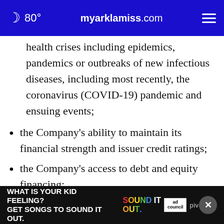🌙 80° myarklamiss.com ☰
health crises including epidemics, pandemics or outbreaks of new infectious diseases, including most recently, the coronavirus (COVID-19) pandemic and ensuing events;
the Company's ability to maintain its financial strength and issuer credit ratings;
the Company's access to debt and equity financing;
...arge commercial business;